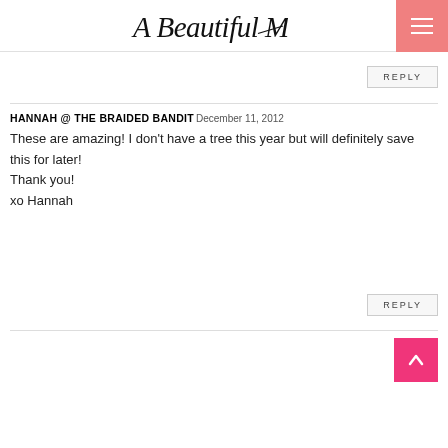A Beautiful Mess
REPLY
HANNAH @ THE BRAIDED BANDIT December 11, 2012
These are amazing! I don't have a tree this year but will definitely save this for later!
Thank you!
xo Hannah
REPLY